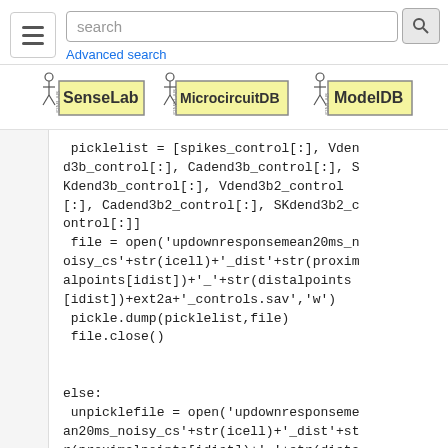[Figure (screenshot): Page header with hamburger menu icon, search box with 'search' placeholder text and search button, and 'Advanced search' link below]
[Figure (logo): Three logos in a row: SenseLab, MicrocircuitDB, ModelDB]
picklelist = [spikes_control[:], Vdend3b_control[:], Cadend3b_control[:], SKdend3b_control[:], Vdend3b2_control[:], Cadend3b2_control[:], SKdend3b2_control[:]]
 file = open('updownresponsemean20ms_noisy_cs'+str(icell)+'_dist'+str(proximalpoints[idist])+'_'+str(distalpoints[idist])+ext2a+'_controls.sav','w')
 pickle.dump(picklelist,file)
 file.close()


else:
 unpicklefile = open('updownresponsemean20ms_noisy_cs'+str(icell)+'_dist'+str(proximalpoints[idist])+'_'+str(distalpoints[idist])+ext2a+'_controls.sa